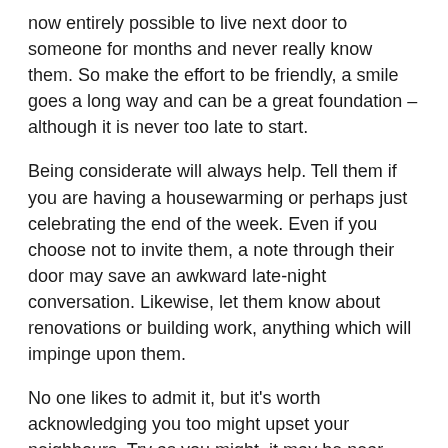now entirely possible to live next door to someone for months and never really know them. So make the effort to be friendly, a smile goes a long way and can be a great foundation – although it is never too late to start.
Being considerate will always help. Tell them if you are having a housewarming or perhaps just celebrating the end of the week. Even if you choose not to invite them, a note through their door may save an awkward late-night conversation. Likewise, let them know about renovations or building work, anything which will impinge upon them.
No one likes to admit it, but it's worth acknowledging you too might upset your neighbours. Try as you might, it may be near impossible to quiet your teething child from screaming into the night. Be a little emphatic, in case you too need some sympathy one day.
Don't judge too quickly. When the garden is a mess and the rubbish is piled high, it is irritating, but maybe there is a good reason. Circumstances from illness to bereavement, and